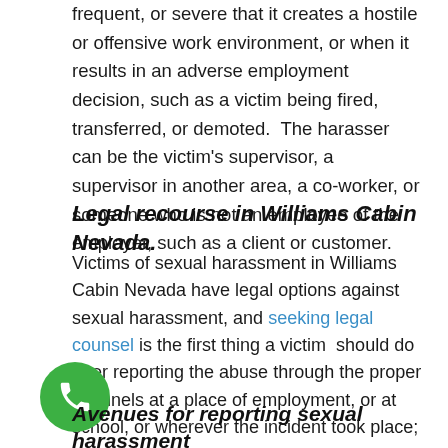frequent, or severe that it creates a hostile or offensive work environment, or when it results in an adverse employment decision, such as a victim being fired, transferred, or demoted.  The harasser can be the victim's supervisor, a supervisor in another area, a co-worker, or someone who is not an employee of the employer, such as a client or customer.
Legal recourse in Williams Cabin Nevada.
Victims of sexual harassment in Williams Cabin Nevada have legal options against sexual harassment, and seeking legal counsel is the first thing a victim should do after reporting the abuse through the proper channels at a place of employment, or at school, or wherever the incident took place; if there are procedural guidelines set at must be followed.
[Figure (illustration): Green circular phone icon button]
Avenues for reporting sexual harassment